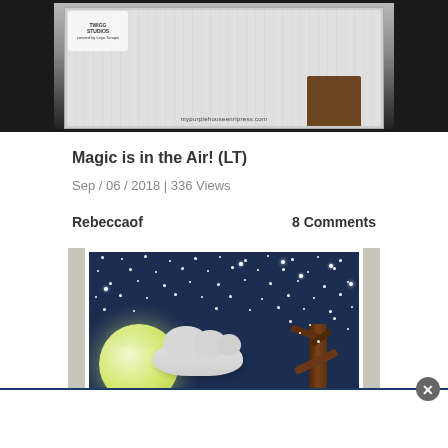[Figure (photo): Top cropped photo of a handmade stamped card on a dark table surface, showing partial card image with watermark text 'mypurplehouseenripress.com' and logo.]
Magic is in the Air! (LT)
Sep / 06 / 2018 | 336 Views
Rebeccaof
8 Comments
[Figure (photo): Photo of a handmade greeting card featuring a night sky scene with a large yellow-green moon, white clouds, a bare tree, and a dark navy blue background covered in white stars/dots.]